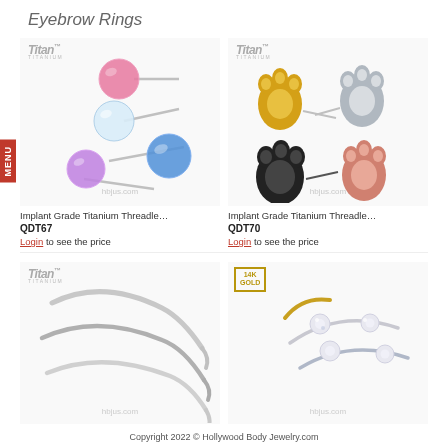Eyebrow Rings
[Figure (photo): Implant Grade Titanium opal ball threadless ends in pink, white, blue, and purple/blue colors on silver pin posts. Titan brand logo shown.]
[Figure (photo): Implant Grade Titanium paw print threadless ends in gold, silver, black, and rose gold colors. Titan brand logo shown.]
Implant Grade Titanium Threadle…
QDT67
Login to see the price
Implant Grade Titanium Threadle…
QDT70
Login to see the price
[Figure (photo): Titanium eyebrow ring curved barbells in silver, shown as multiple pieces. Titan brand logo shown.]
[Figure (photo): 14K gold eyebrow rings with crystal pave ball ends, shown in gold and silver tones. 14K GOLD badge shown.]
Copyright 2022 © Hollywood Body Jewelry.com